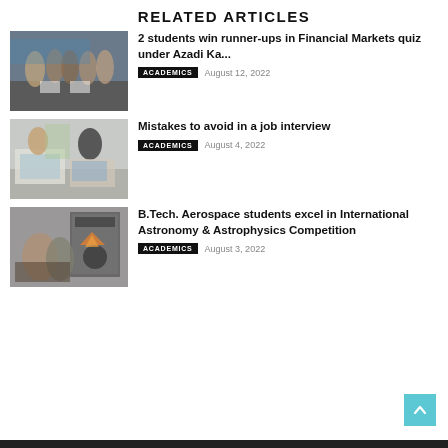RELATED ARTICLES
[Figure (photo): Group of people at an awards ceremony on stage, holding certificates]
2 students win runner-ups in Financial Markets quiz under Azadi Ka...
ACADEMICS   August 12, 2022
[Figure (photo): Two people sitting at a desk in an office setting, one with a laptop]
Mistakes to avoid in a job interview
ACADEMICS   August 4, 2022
[Figure (photo): Students working with a 3D printer]
B.Tech. Aerospace students excel in International Astronomy & Astrophysics Competition
ACADEMICS   August 3, 2022